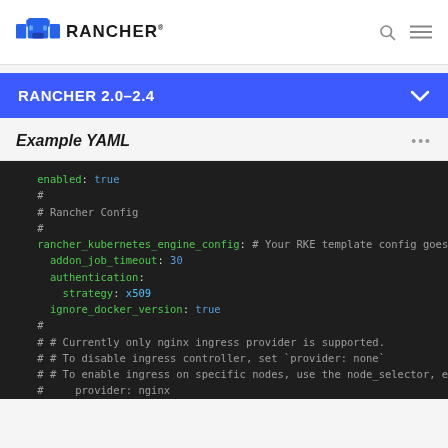RANCHER
RANCHER 2.0-2.4
Example YAML
enabled: true
    #
    # Rancher Config
    #
    rancher_kubernetes_engine_config: # Your RKE template config goes h
      addon_job_timeout: 30
      authentication:
        strategy: x509
      ignore_docker_version: true
    #
    # # Currently only nginx ingress provider is supported.
    # # To disable ingress controller, set `provider: none`
    # # To enable ingress on specific nodes, use the node_selector, eg:
    #     provider: nginx